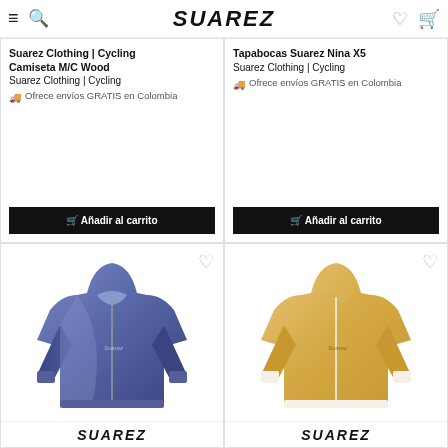SUAREZ
Suarez Clothing | Cycling
Camiseta M/C Wood
Suarez Clothing | Cycling
🚚 Ofrece envíos GRATIS en Colombia
Tapabocas Suarez Nina X5
Suarez Clothing | Cycling
🚚 Ofrece envíos GRATIS en Colombia
[Figure (photo): Blue/navy cycling long-sleeve jersey with gradient pattern and Suarez branding, shown on a ghost mannequin]
[Figure (photo): Yellow/tan cycling long-sleeve jersey with white zipper and Suarez branding, shown on a ghost mannequin]